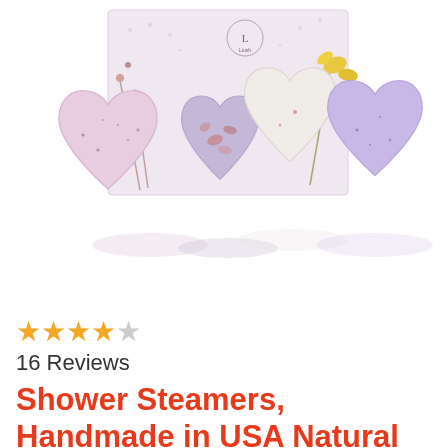[Figure (photo): Four heart-shaped bath bombs/shower steamers in pink, lavender, white, and purple colors arranged in front of a decorative gift box with floral design. The box has the letter L and Liush branding visible.]
★★★★☆ 16 Reviews
Shower Steamers, Handmade in USA Natural Premium Quality 4 Heart Bath Bomb Set Luxur...